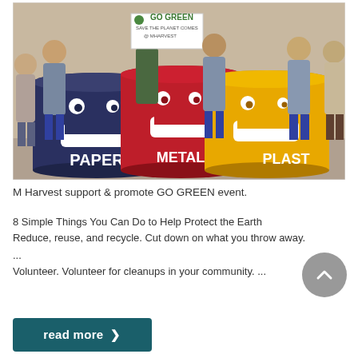[Figure (photo): Group of people standing behind three large barrel-shaped recycling bins painted with cartoon faces. The bins are colored blue (labeled PAPER), red (labeled METAL), and yellow (labeled PLAST). A person in the center holds a sign reading 'GO GREEN SAVE THE PLANET COMES @ MHARVEST'.]
M Harvest support & promote GO GREEN event.
8 Simple Things You Can Do to Help Protect the Earth Reduce, reuse, and recycle. Cut down on what you throw away. ... Volunteer. Volunteer for cleanups in your community. ...